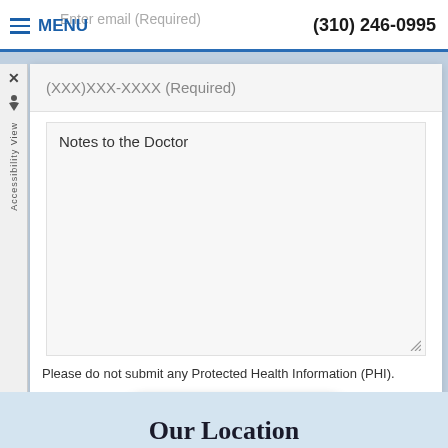Enter email (Required)   MENU   (310) 246-0995
(XXX)XXX-XXXX (Required)
Notes to the Doctor
Please do not submit any Protected Health Information (PHI).
SUBMIT
Our Location